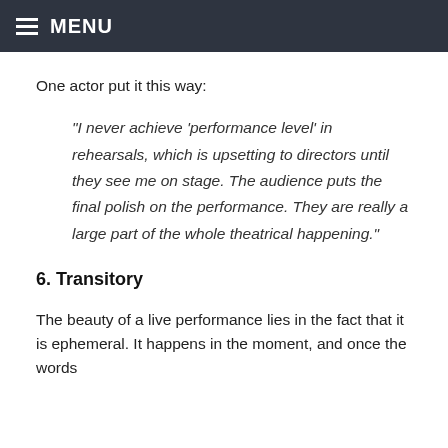MENU
One actor put it this way:
“I never achieve ‘performance level’ in rehearsals, which is upsetting to directors until they see me on stage. The audience puts the final polish on the performance. They are really a large part of the whole theatrical happening.”
6. Transitory
The beauty of a live performance lies in the fact that it is ephemeral. It happens in the moment, and once the words